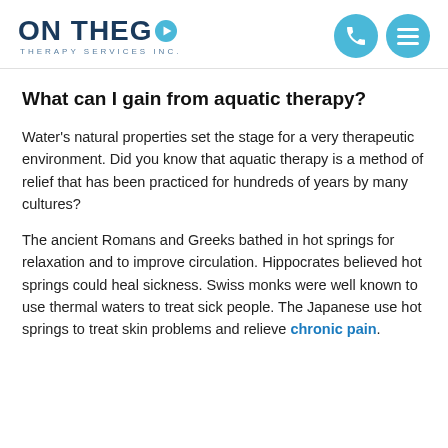[Figure (logo): On The Go Therapy Services Inc. logo with phone and menu icons in header]
What can I gain from aquatic therapy?
Water's natural properties set the stage for a very therapeutic environment. Did you know that aquatic therapy is a method of relief that has been practiced for hundreds of years by many cultures?
The ancient Romans and Greeks bathed in hot springs for relaxation and to improve circulation. Hippocrates believed hot springs could heal sickness. Swiss monks were well known to use thermal waters to treat sick people. The Japanese use hot springs to treat skin problems and relieve chronic pain.